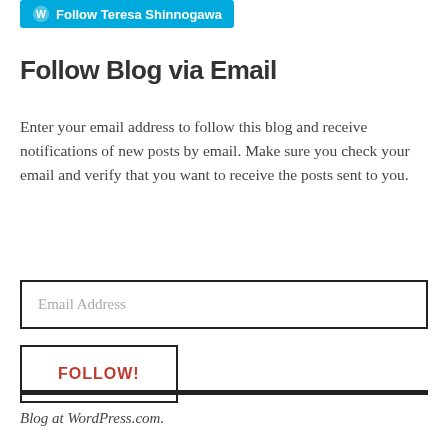[Figure (other): WordPress Follow button with blue background: 'Follow Teresa Shinnogawa']
Follow Blog via Email
Enter your email address to follow this blog and receive notifications of new posts by email. Make sure you check your email and verify that you want to receive the posts sent to you.
Email Address
FOLLOW!
Blog at WordPress.com.